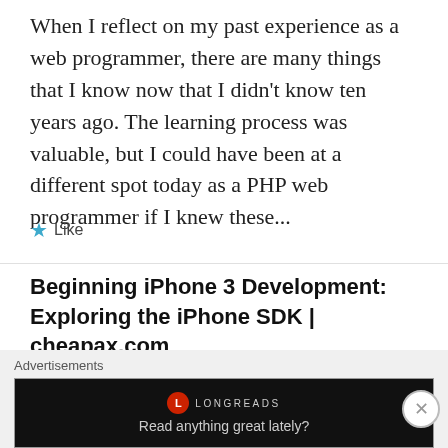When I reflect on my past experience as a web programmer, there are many things that I know now that I didn't know ten years ago. The learning process was valuable, but I could have been at a different spot today as a PHP web programmer if I knew these...
★ Like
Beginning iPhone 3 Development: Exploring the iPhone SDK | cheapax.com
March 11, 2010 at 4:50 pm
Advertisements
[Figure (screenshot): Advertisement banner for Longreads with dark background, Longreads logo and tagline 'Read anything great lately?']